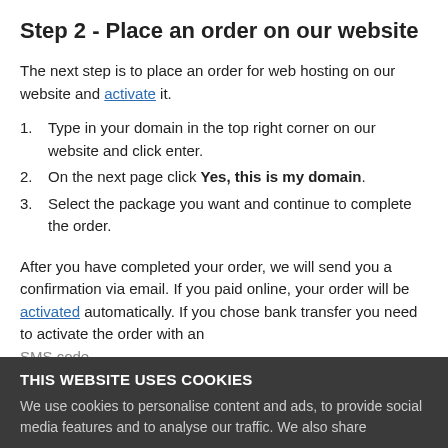Step 2 - Place an order on our website
The next step is to place an order for web hosting on our website and activate it.
Type in your domain in the top right corner on our website and click enter.
On the next page click Yes, this is my domain.
Select the package you want and continue to complete the order.
After you have completed your order, we will send you a confirmation via email. If you paid online, your order will be activated automatically. If you chose bank transfer you need to activate the order with an SMS code.
THIS WEBSITE USES COOKIES
We use cookies to personalise content and ads, to provide social media features and to analyse our traffic. We also share